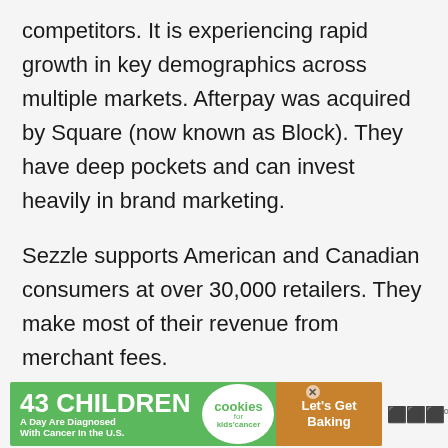competitors. It is experiencing rapid growth in key demographics across multiple markets. Afterpay was acquired by Square (now known as Block). They have deep pockets and can invest heavily in brand marketing.
Sezzle supports American and Canadian consumers at over 30,000 retailers. They make most of their revenue from merchant fees.
[Figure (other): Advertisement banner: '43 CHILDREN A Day Are Diagnosed With Cancer In the U.S.' with Cookies for kids' cancer and 'Let's Get Baking' text.]